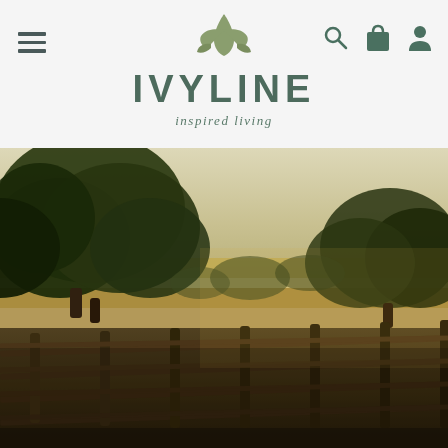[Figure (screenshot): Navigation bar with hamburger menu on left and search, bag, user icons on right. Center shows Ivyline logo with leaf icon and 'inspired living' tagline.]
[Figure (photo): Countryside scene with trees, a wooden fence running diagonally across the image, open fields and a pale sky in the background. Warm golden tones.]